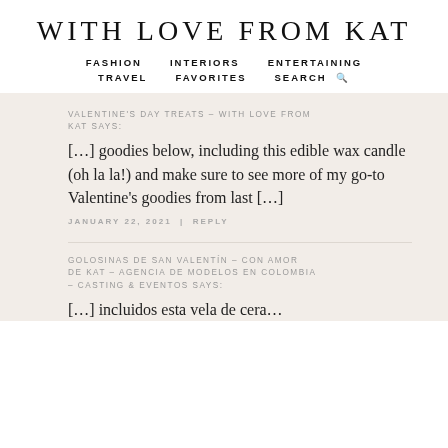WITH LOVE FROM KAT
FASHION   INTERIORS   ENTERTAINING   TRAVEL   FAVORITES   SEARCH
VALENTINE'S DAY TREATS – WITH LOVE FROM KAT SAYS:
[…] goodies below, including this edible wax candle (oh la la!) and make sure to see more of my go-to Valentine's goodies from last […]
JANUARY 22, 2021  |  REPLY
GOLOSINAS DE SAN VALENTÍN – CON AMOR DE KAT – AGENCIA DE MODELOS EN COLOMBIA – CASTING & EVENTOS SAYS:
[…] incluidos esta vela de cera…